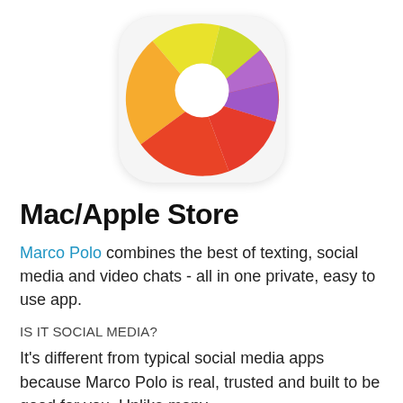[Figure (logo): Marco Polo app icon: colorful donut/pie chart-style wheel with segments in yellow, orange, red, green, purple on white rounded square background]
Mac/Apple Store
Marco Polo combines the best of texting, social media and video chats - all in one private, easy to use app.
IS IT SOCIAL MEDIA?
It's different from typical social media apps because Marco Polo is real, trusted and built to be good for you. Unlike many